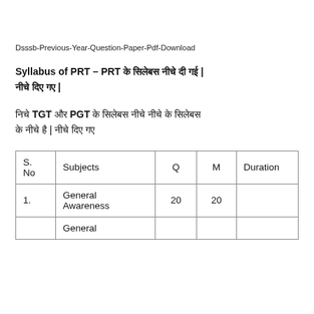Dsssb-Previous-Year-Question-Paper-Pdf-Download
Syllabus of PRT – PRT के सिलेबस नीचे दी गई | नीचे दिए गए |
निचे TGT और PGT के सिलेबस नीचे नीचे के सिलेबस के नीचे है | नीचे दिए गए
| S. No | Subjects | Q | M | Duration |
| --- | --- | --- | --- | --- |
| 1. | General Awareness | 20 | 20 |  |
|  | General |  |  |  |